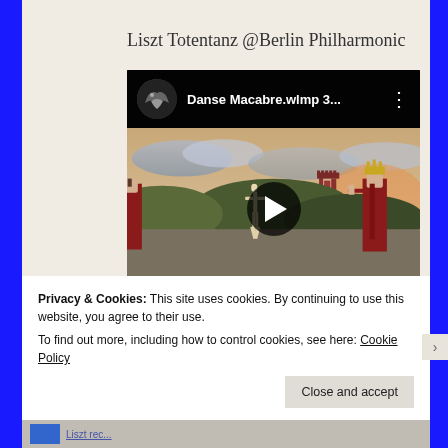Liszt Totentanz @Berlin Philharmonic
[Figure (screenshot): YouTube video thumbnail showing 'Danse Macabre.wlmp 3...' with a medieval painting depicting a skeleton dancing between two figures, set against a castle landscape background. Includes YouTube avatar, title bar, and play button overlay.]
Privacy & Cookies: This site uses cookies. By continuing to use this website, you agree to their use.
To find out more, including how to control cookies, see here: Cookie Policy
Close and accept